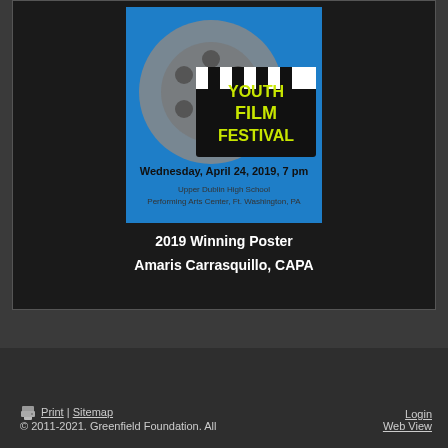[Figure (illustration): Youth Film Festival event poster showing a film reel and clapperboard with text: YOUTH FILM FESTIVAL, Wednesday, April 24, 2019, 7 pm, Upper Dublin High School Performing Arts Center, Ft. Washington, PA]
2019 Winning Poster
Amaris Carrasquillo, CAPA
Print | Sitemap | Login | Web View | © 2011-2021. Greenfield Foundation. All